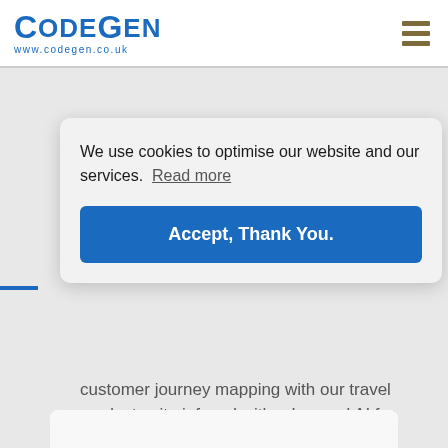[Figure (logo): CodeGen logo with blue text and URL www.codegen.co.uk]
[Figure (other): Hamburger menu icon with three horizontal brown bars]
customer journey mapping with our travel product suite infused with advanced AI for optimum conversions.
We use cookies to optimise our website and our services. Read more
Accept, Thank You.